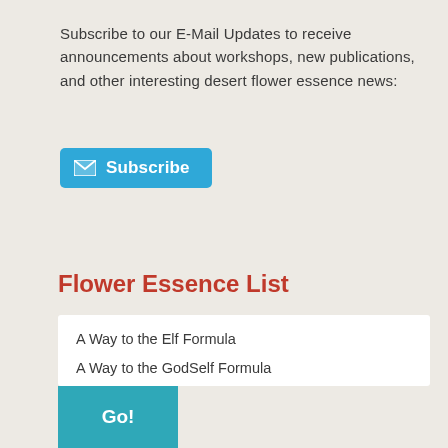Subscribe to our E-Mail Updates to receive announcements about workshops, new publications, and other interesting desert flower essence news:
[Figure (other): Blue Subscribe button with envelope icon]
Flower Essence List
A Way to the Elf Formula
A Way to the GodSelf Formula
Activating & Honoring the Warrior Formula
Activation Formula
Agave
Air Element Formula
Aligning with Higher Self Formula
Aloe
Ancestral Patterns Formula
[Figure (other): Blue Go! button at bottom left]